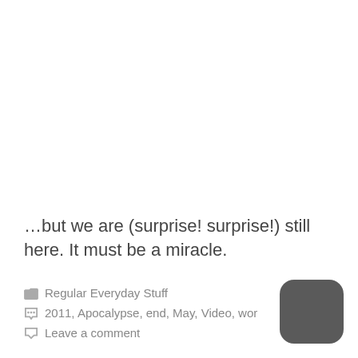…but we are (surprise! surprise!) still here. It must be a miracle.
Regular Everyday Stuff
2011, Apocalypse, end, May, Video, wor…
Leave a comment
[Figure (logo): Dark rounded square app icon with a crescent moon 'C' letter logo in white on grey background]